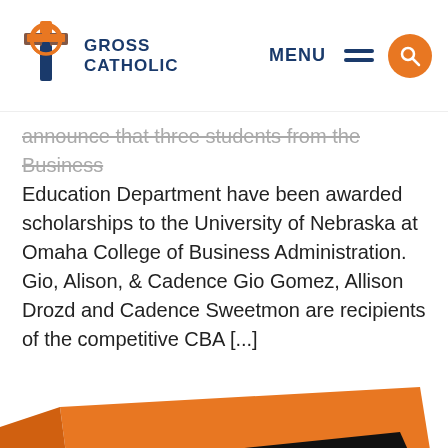Gross Catholic — MENU [search]
announce that three students from the Business Education Department have been awarded scholarships to the University of Nebraska at Omaha College of Business Administration. Gio, Alison, & Cadence Gio Gomez, Allison Drozd and Cadence Sweetmon are recipients of the competitive CBA [...]
READ MORE
[Figure (photo): Orange Annual Report booklet with Gross Catholic logo and a black wax seal]